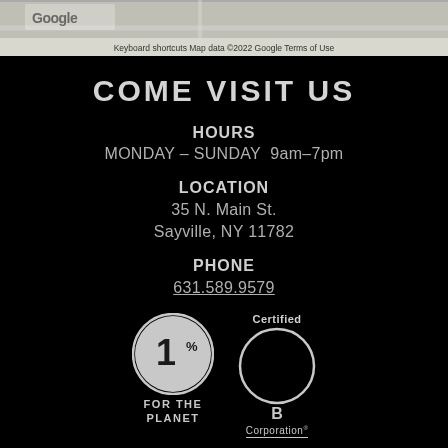[Figure (screenshot): Google Maps screenshot strip showing map view with Google logo and map attribution bar reading 'Keyboard shortcuts  Map data ©2022 Google  Terms of Use']
COME VISIT US
HOURS
MONDAY – SUNDAY  9am–7pm
LOCATION
35 N. Main St.
Sayville, NY 11782
PHONE
631.589.9579
[Figure (logo): 1% for the Planet logo — circular badge with '1%' text and 'FOR THE PLANET' below]
[Figure (logo): Certified B Corporation logo — circular badge with 'B' and 'Certified' above, 'Corporation' below with underline]